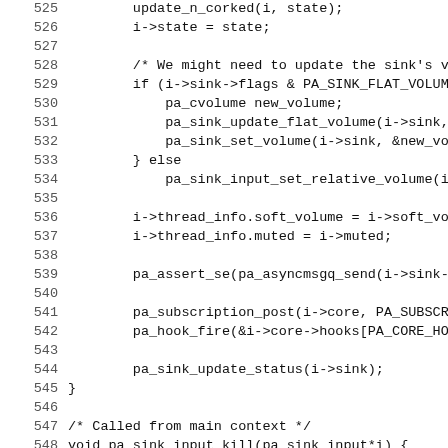Source code lines 525-554 showing C code for pa_sink_input functions including update_n_corked, state assignment, volume handling, thread info updates, async message sending, subscription posting, hook firing, status update, and pa_sink_input_kill function.